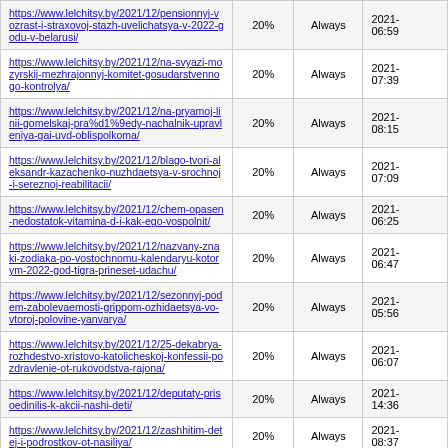| https://www.lelchitsy.by/2021/12/pensionnyj-vozrast-i-straxovoj-stazh-uvelichatsya-v-2022-godu-v-belarusi/ | 20% | Always | 2021-
06:59 |
| https://www.lelchitsy.by/2021/12/na-svyazi-mozyrskij-mezhrajonnyj-komitet-gosudarstvennogo-kontrolya/ | 20% | Always | 2021-
07:39 |
| https://www.lelchitsy.by/2021/12/na-pryamoj-linii-gomelskaj-pra%d1%9edy-nachalnik-upravleniya-gai-uvd-oblispolkoma/ | 20% | Always | 2021-
08:15 |
| https://www.lelchitsy.by/2021/12/blago-tvori-aleksandr-kazachenko-nuzhdaetsya-v-srochnoj-i-sereznoj-reabilitacii/ | 20% | Always | 2021-
07:09 |
| https://www.lelchitsy.by/2021/12/chem-opasen-nedostatok-vitamina-d-i-kak-ego-vospolnit/ | 20% | Always | 2021-
06:25 |
| https://www.lelchitsy.by/2021/12/nazvany-znaki-zodiaka-po-vostochnomu-kalendaryu-kotorym-2022-god-tigra-prineset-udachu/ | 20% | Always | 2021-
06:47 |
| https://www.lelchitsy.by/2021/12/sezonnyj-podem-zabolevaemosti-grippom-ozhidaetsya-vo-vtoroj-polovine-yanvarya/ | 20% | Always | 2021-
05:56 |
| https://www.lelchitsy.by/2021/12/25-dekabrya-rozhdestvo-xristovo-katolicheskoj-konfessii-pozdravlenie-ot-rukovodstva-rajona/ | 20% | Always | 2021-
06:07 |
| https://www.lelchitsy.by/2021/12/deputaty-prisoedinilis-k-akcii-nashi-deti/ | 20% | Always | 2021-
14:36 |
| https://www.lelchitsy.by/2021/12/zashhitim-detej-i-podrostkov-ot-nasiliya/ | 20% | Always | 2021-
08:37 |